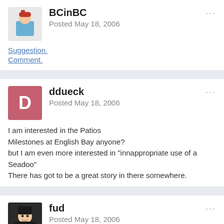BCinBC
Posted May 18, 2006
Suggestion.
Comment.
ddueck
Posted May 18, 2006
I am interested in the Patios
Milestones at English Bay anyone?
but I am even more interested in "innappropriate use of a Seadoo"
There has got to be a great story in there somewhere.
fud
Posted May 18, 2006